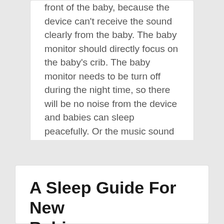front of the baby, because the device can't receive the sound clearly from the baby. The baby monitor should directly focus on the baby's crib. The baby monitor needs to be turn off during the night time, so there will be no noise from the device and babies can sleep peacefully. Or the music sound can be reduced
[Figure (other): Social share buttons: Facebook (blue), Twitter (light blue), Email (blue), Share/More (blue)]
A Sleep Guide For New Babies
December 14, 2020